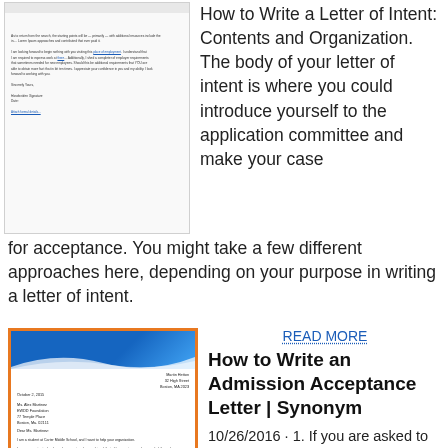[Figure (illustration): Scanned letter document image, greyscale, shown in top-left area]
How to Write a Letter of Intent: Contents and Organization. The body of your letter of intent is where you could introduce yourself to the application committee and make your case for acceptance. You might take a few different approaches here, depending on your purpose in writing a letter of intent.
[Figure (illustration): Letter document with blue header and orange border, shown in bottom-left area]
READ MORE
How to Write an Admission Acceptance Letter | Synonym
10/26/2016 · 1. If you are asked to write a letter as a favor to the student's parents and really don't know the student, don't write the letter. This kind of letter of